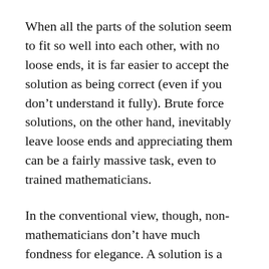When all the parts of the solution seem to fit so well into each other, with no loose ends, it is far easier to accept the solution as being correct (even if you don't understand it fully). Brute force solutions, on the other hand, inevitably leave loose ends and appreciating them can be a fairly massive task, even to trained mathematicians.
In the conventional view, though, non-mathematicians don't have much fondness for elegance. A solution is a solution, and a problem solved is a problem solved.
With the coming of big data and increased computational power, however, the tables are